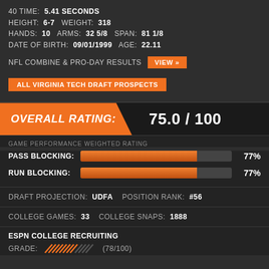40 TIME: 5.41 SECONDS
HEIGHT: 6-7  WEIGHT: 318
HANDS: 10  ARMS: 32 5/8  SPAN: 81 1/8
DATE OF BIRTH: 09/01/1999  AGE: 22.11
NFL COMBINE & PRO-DAY RESULTS
ALL VIRGINIA TECH DRAFT PROSPECTS
OVERALL RATING: 75.0 / 100
GAME PERFORMANCE WEIGHTED RATING
[Figure (bar-chart): Pass Blocking / Run Blocking]
DRAFT PROJECTION: UDFA  POSITION RANK: #56
COLLEGE GAMES: 33  COLLEGE SNAPS: 1888
ESPN COLLEGE RECRUITING
GRADE: (78/100)